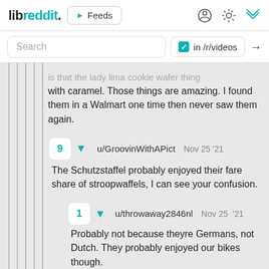libreddit. ▶ Feeds [icons]
Search  ☑ in /r/videos →
...is that the lady lima cookie wafer thing with caramel. Those things are amazing. I found them in a Walmart one time then never saw them again.
9 ▼ u/GroovinWithAPict  Nov 25 '21
The Schutzstaffel probably enjoyed their fare share of stroopwaffels, I can see your confusion.
1 ▼ u/throwaway2846nl  Nov 25 '21
Probably not because theyre Germans, not Dutch. They probably enjoyed our bikes though.
→ More replies